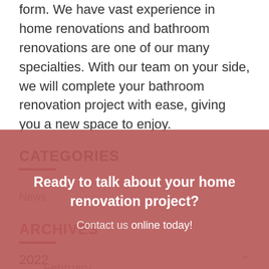form. We have vast experience in home renovations and bathroom renovations are one of our many specialties. With our team on your side, we will complete your bathroom renovation project with ease, giving you a new space to enjoy.
CATEGORIES
News
ARCHIVES
2022
February
[Figure (other): Popup overlay with close button (×), heading 'Ready to talk about your home renovation project?' and subtext 'Contact us online today!' on a dark rose/mauve background.]